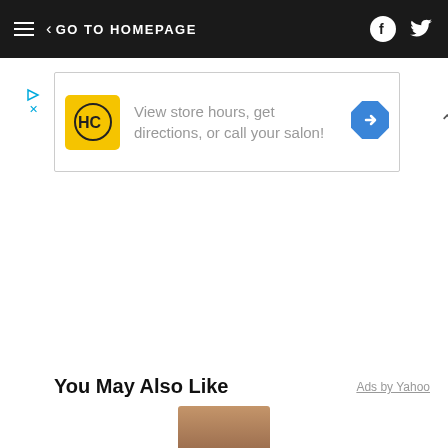GO TO HOMEPAGE
[Figure (screenshot): Advertisement banner for a hair care salon (HC logo) with text: View store hours, get directions, or call your salon! with a blue direction arrow icon]
You May Also Like
Ads by Yahoo